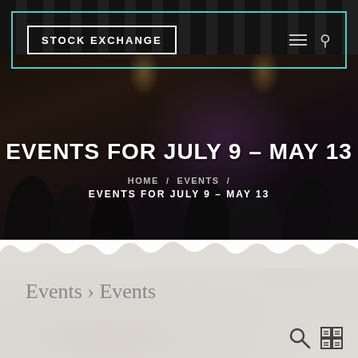[Figure (screenshot): Hero section showing a restaurant/venue interior with crowd, overlaid with navigation bar containing 'Stock Exchange' logo in white-bordered box inside teal-bordered nav container, with hamburger and search icons top right. Dark overlay on background photo.]
EVENTS FOR JULY 9 – MAY 13
HOME / EVENTS / EVENTS FOR JULY 9 – MAY 13
Events › Events